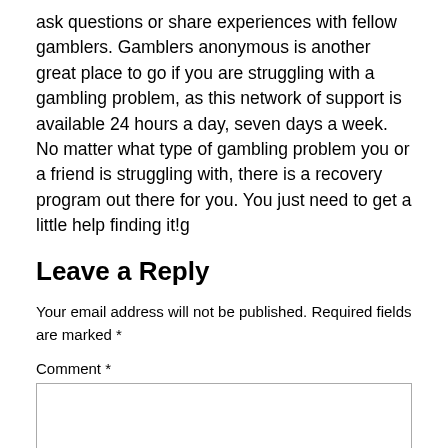ask questions or share experiences with fellow gamblers. Gamblers anonymous is another great place to go if you are struggling with a gambling problem, as this network of support is available 24 hours a day, seven days a week. No matter what type of gambling problem you or a friend is struggling with, there is a recovery program out there for you. You just need to get a little help finding it!g
Leave a Reply
Your email address will not be published. Required fields are marked *
Comment *